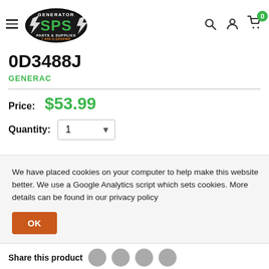Generator SPS Parts & Supplies - 1-855-5-SPSPWR
0D3488J
GENERAC
Price: $53.99
Quantity: 1
We have placed cookies on your computer to help make this website better. We use a Google Analytics script which sets cookies. More details can be found in our privacy policy
OK
Share this product